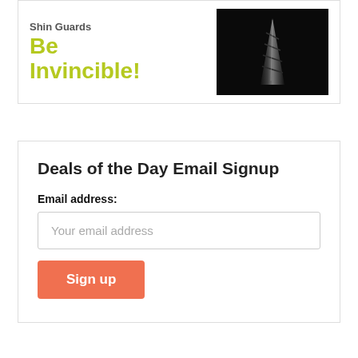[Figure (illustration): Promotional banner with yellow-green bold text reading 'Shin Guards Be Invincible!' on the left and a dark photo of a metallic drill bit or screw tip on the right]
Deals of the Day Email Signup
Email address:
Your email address
Sign up